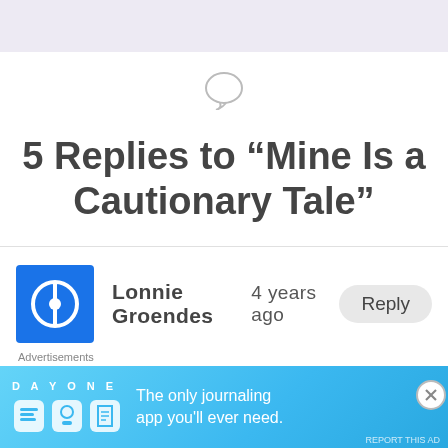5 Replies to “Mine Is a Cautionary Tale”
Lonnie Groendes   4 years ago   Reply
THANK YOU, PATRICK! That
Advertisements
[Figure (illustration): Day One journaling app advertisement banner with blue gradient background, app icons, and text 'The only journaling app you’ll ever need.']